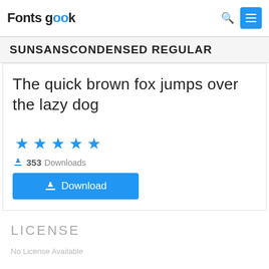Fonts Geek
SUNSANSCONDENSED REGULAR
The quick brown fox jumps over the lazy dog
[Figure (other): Five blue star rating icons]
353 Downloads
Download
LICENSE
No License Available